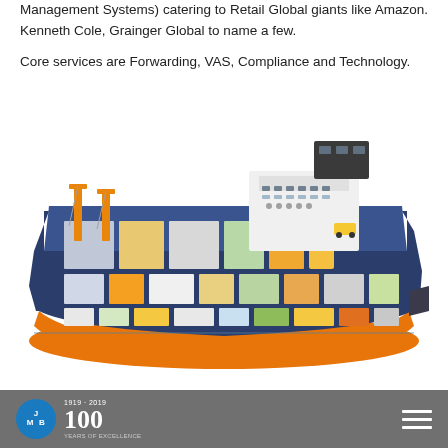Management Systems) catering to Retail Global giants like Amazon. Kenneth Cole, Grainger Global to name a few.

Core services are Forwarding, VAS, Compliance and Technology.
[Figure (illustration): Cutaway illustration of a large cargo/RoRo ship showing multiple decks loaded with containers, trucks, vehicles, and various freight. The ship has an orange hull, dark blue upper hull, and white superstructure. Orange loading cranes are visible at the bow.]
JMB 100 years logo and hamburger menu icon